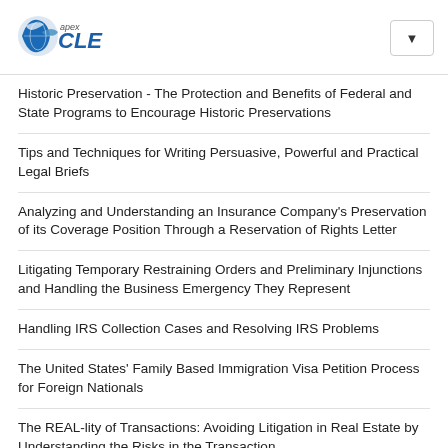[Figure (logo): Apex CLE logo with blue swoosh/globe icon and bold CLE text]
Historic Preservation - The Protection and Benefits of Federal and State Programs to Encourage Historic Preservations
Tips and Techniques for Writing Persuasive, Powerful and Practical Legal Briefs
Analyzing and Understanding an Insurance Company's Preservation of its Coverage Position Through a Reservation of Rights Letter
Litigating Temporary Restraining Orders and Preliminary Injunctions and Handling the Business Emergency They Represent
Handling IRS Collection Cases and Resolving IRS Problems
The United States' Family Based Immigration Visa Petition Process for Foreign Nationals
The REAL-lity of Transactions: Avoiding Litigation in Real Estate by Understanding the Risks in the Transaction